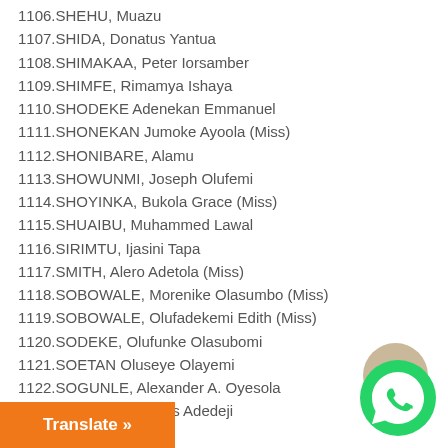1106.SHEHU, Muazu
1107.SHIDA, Donatus Yantua
1108.SHIMAKAA, Peter Iorsamber
1109.SHIMFE, Rimamya Ishaya
1110.SHODEKE Adenekan Emmanuel
1111.SHONEKAN Jumoke Ayoola (Miss)
1112.SHONIBARE, Alamu
1113.SHOWUNMI, Joseph Olufemi
1114.SHOYINKA, Bukola Grace (Miss)
1115.SHUAIBU, Muhammed Lawal
1116.SIRIMTU, Ijasini Tapa
1117.SMITH, Alero Adetola (Miss)
1118.SOBOWALE, Morenike Olasumbo (Miss)
1119.SOBOWALE, Olufadekemi Edith (Miss)
1120.SODEKE, Olufunke Olasubomi
1121.SOETAN Oluseye Olayemi
1122.SOGUNLE, Alexander A. Oyesola
1123.SOKEFUN, Justus Adedeji
1124...eke Godwin O.